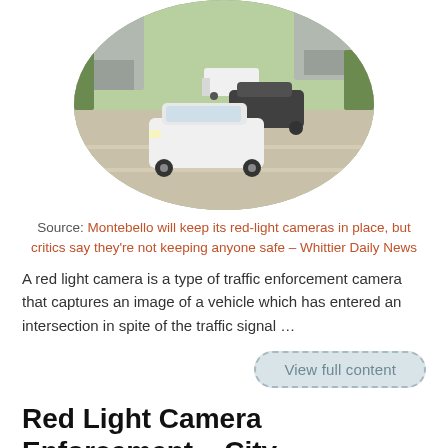[Figure (photo): Oval-cropped photograph showing red-light camera enforcement equipment mounted on poles over an intersection, with cars including a white Toyota Prius passing through. A white van and other vehicles visible in background.]
Source: Montebello will keep its red-light cameras in place, but critics say they're not keeping anyone safe – Whittier Daily News
A red light camera is a type of traffic enforcement camera that captures an image of a vehicle which has entered an intersection in spite of the traffic signal …
View full content
Red Light Camera Enforcement – City